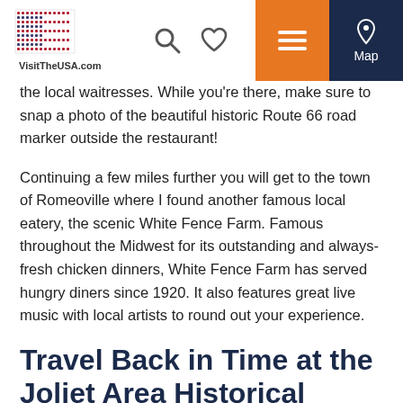[Figure (screenshot): VisitTheUSA.com navigation bar with logo, search icon, heart icon, orange hamburger menu button, and dark navy Map button with location pin icon]
the local waitresses. While you're there, make sure to snap a photo of the beautiful historic Route 66 road marker outside the restaurant!
Continuing a few miles further you will get to the town of Romeoville where I found another famous local eatery, the scenic White Fence Farm. Famous throughout the Midwest for its outstanding and always-fresh chicken dinners, White Fence Farm has served hungry diners since 1920. It also features great live music with local artists to round out your experience.
Travel Back in Time at the Joliet Area Historical Museum
You will be in Route 66 heaven when you get to Joliet where you can pose next to an original 1920s gas pump right on the street corner, diagonally across from the Joliet Area Historical Museum. The museum itself, located where Route